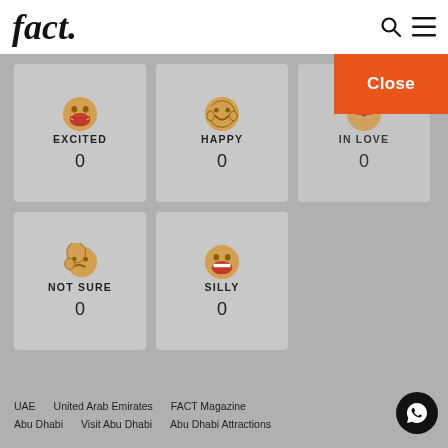fact.
EXCITED
0
HAPPY
0
IN LOVE
0
NOT SURE
0
SILLY
0
Close
UAE  United Arab Emirates  FACT Magazine  Abu Dhabi  Visit Abu Dhabi  Abu Dhabi Attractions